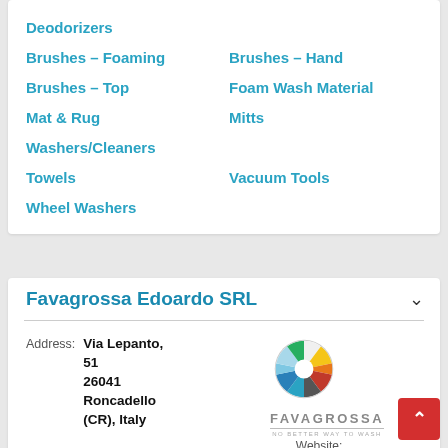Deodorizers
Brushes – Foaming
Brushes – Hand
Brushes – Top
Foam Wash Material
Mat & Rug
Mitts
Washers/Cleaners
Towels
Vacuum Tools
Wheel Washers
Favagrossa Edoardo SRL
Address: Via Lepanto, 51 26041 Roncadello (CR), Italy
[Figure (logo): Favagrossa company logo: circular pinwheel/fan graphic in multicolor above wordmark FAVAGROSSA with tagline NO BETTER WAY TO WASH]
Website: www.favagrossa.co
Phone: +39 0375